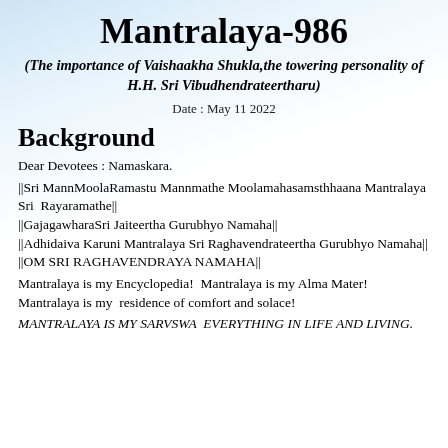Mantralaya-986
(The importance of Vaishaakha Shukla,the towering personality of H.H. Sri Vibudhendrateertharu)
Date : May 11 2022
Background
Dear Devotees : Namaskara.
||Sri MannMoolaRamastu Mannmathe Moolamahasamsthhaana Mantralaya Sri  Rayaramathe||
||GajagawharaSri Jaiteertha Gurubhyo Namaha||
||Adhidaiva Karuni Mantralaya Sri Raghavendrateertha Gurubhyo Namaha||
||OM SRI RAGHAVENDRAYA NAMAHA||
Mantralaya is my Encyclopedia!  Mantralaya is my Alma Mater! Mantralaya is my  residence of comfort and solace!
MANTRALAYA IS MY SARVSWA  EVERYTHING IN LIFE AND LIVING.